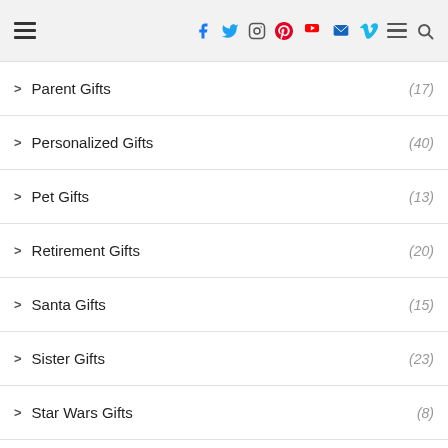Navigation header with social icons: Facebook, Twitter, Instagram, Pinterest, YouTube, Email, Vimeo, Menu, Search
Parent Gifts (17)
Personalized Gifts (40)
Pet Gifts (13)
Retirement Gifts (20)
Santa Gifts (15)
Sister Gifts (23)
Star Wars Gifts (8)
Teacher Gifts (19)
Thank you Gifts (